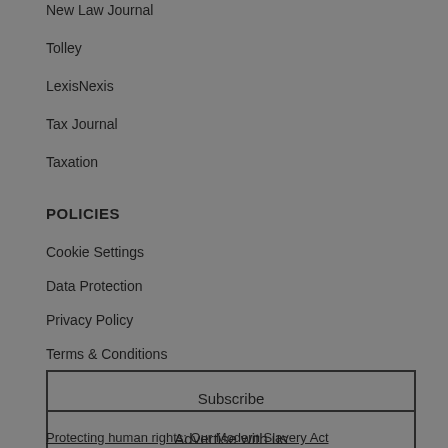New Law Journal
Tolley
LexisNexis
Tax Journal
Taxation
POLICIES
Cookie Settings
Data Protection
Privacy Policy
Terms & Conditions
Subscribe
Advertise with us
Protecting human rights: Our Modern Slavery Act